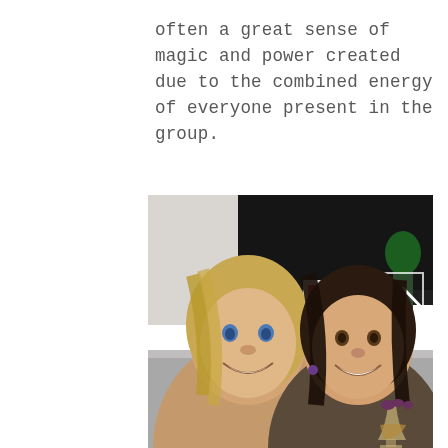often a great sense of magic and power created due to the combined energy of everyone present in the group.
[Figure (photo): Selfie photo of two smiling women in a modern kitchen with dark cabinetry. Left woman has long blonde hair; right woman has dark hair and is holding a wine glass. A back-navigation arrow button is visible in the upper right of the photo.]